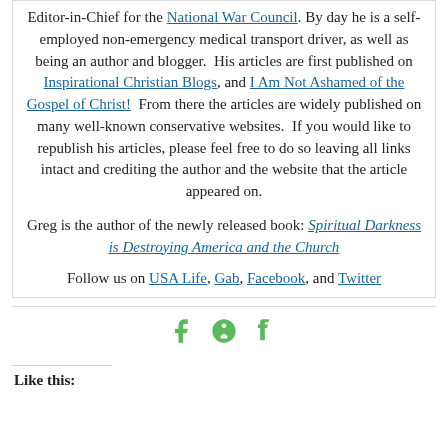Editor-in-Chief for the National War Council. By day he is a self-employed non-emergency medical transport driver, as well as being an author and blogger. His articles are first published on Inspirational Christian Blogs, and I Am Not Ashamed of the Gospel of Christ! From there the articles are widely published on many well-known conservative websites. If you would like to republish his articles, please feel free to do so leaving all links intact and crediting the author and the website that the article appeared on.
Greg is the author of the newly released book: Spiritual Darkness is Destroying America and the Church
Follow us on USA Life, Gab, Facebook, and Twitter
[Figure (infographic): Social sharing icons: Facebook (f), Pinterest (p), Tumblr (t) in green]
Like this: